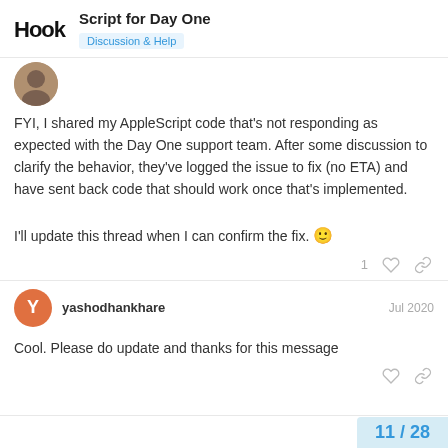Hook — Script for Day One — Discussion & Help
[Figure (photo): Partial avatar image of the first post author (cropped, round).]
FYI, I shared my AppleScript code that's not responding as expected with the Day One support team. After some discussion to clarify the behavior, they've logged the issue to fix (no ETA) and have sent back code that should work once that's implemented.

I'll update this thread when I can confirm the fix. 🙂
yashodhankhare — Jul 2020
Cool. Please do update and thanks for this message
11 / 28